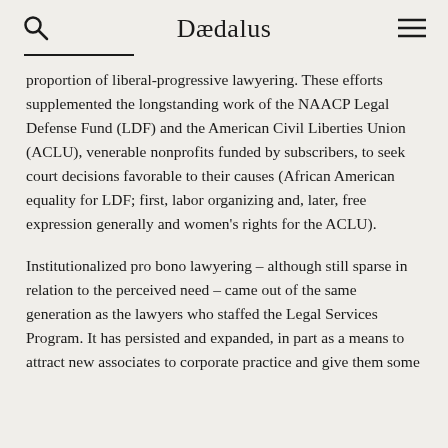Dædalus
proportion of liberal-progressive lawyering. These efforts supplemented the longstanding work of the NAACP Legal Defense Fund (LDF) and the American Civil Liberties Union (ACLU), venerable nonprofits funded by subscribers, to seek court decisions favorable to their causes (African American equality for LDF; first, labor organizing and, later, free expression generally and women's rights for the ACLU).
Institutionalized pro bono lawyering – although still sparse in relation to the perceived need – came out of the same generation as the lawyers who staffed the Legal Services Program. It has persisted and expanded, in part as a means to attract new associates to corporate practice and give them some